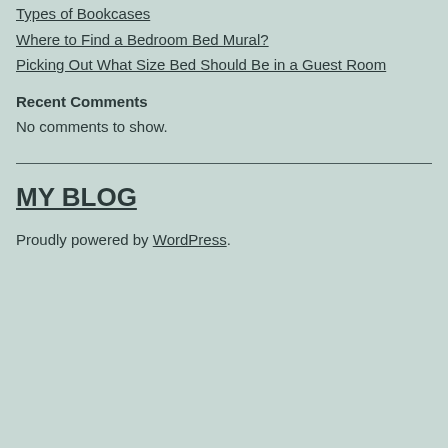Types of Bookcases
Where to Find a Bedroom Bed Mural?
Picking Out What Size Bed Should Be in a Guest Room
Recent Comments
No comments to show.
MY BLOG
Proudly powered by WordPress.